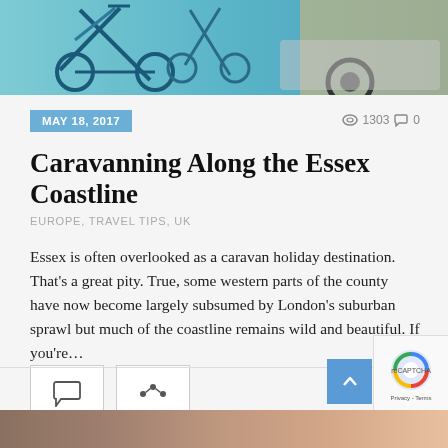[Figure (photo): Top portion of a photo showing bicycles and a car, with teal/blue tones]
MAY 18, 2017
1303  0
Caravanning Along the Essex Coastline
EUROPE, TRAVEL TIPS, UK
Essex is often overlooked as a caravan holiday destination. That's a great pity. True, some western parts of the county have now become largely subsumed by London's suburban sprawl but much of the coastline remains wild and beautiful. If you're…
[Figure (photo): Bottom strip of another photo partially visible at the bottom of the page]